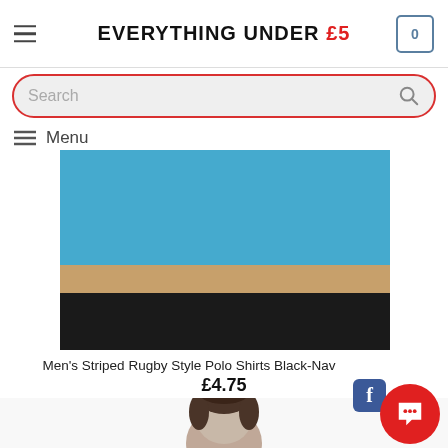EVERYTHING UNDER £5
Search
Menu
[Figure (photo): Close-up of a striped rugby polo shirt showing blue, tan, and black horizontal stripes]
Men's Striped Rugby Style Polo Shirts Black-Nav
£4.75
SELECT OPTIONS
[Figure (photo): Partial view of a man's head showing dark hair, next product preview]